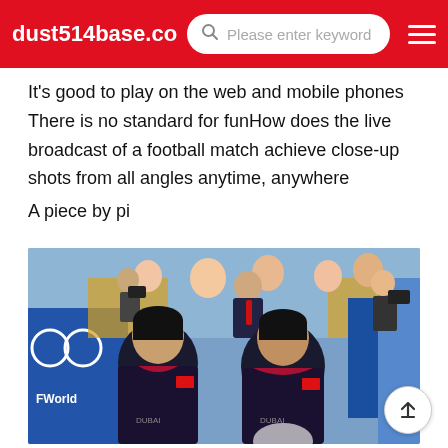dust514base.com
It's good to play on the web and mobile phones There is no standard for funHow does the live broadcast of a football match achieve close-up shots from all angles anytime, anywhere
A piece by pi
[Figure (photo): Two table tennis players in black/red uniforms with Chinese national team logos stand side by side, heads bowed, at what appears to be a competitive match. Behind them are spectators, photographers, and a coach in a suit. Colorful sponsor banners are visible in the background.]